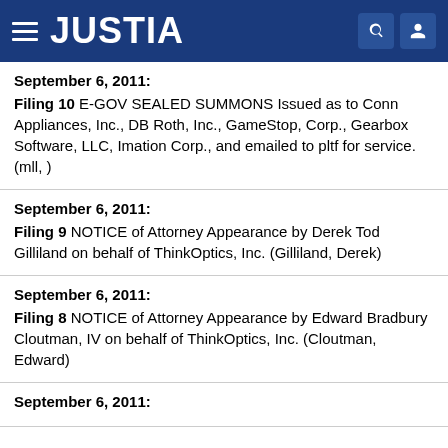JUSTIA
September 6, 2011: Filing 10  E-GOV SEALED SUMMONS Issued as to Conn Appliances, Inc., DB Roth, Inc., GameStop, Corp., Gearbox Software, LLC, Imation Corp., and emailed to pltf for service. (mll, )
September 6, 2011: Filing 9  NOTICE of Attorney Appearance by Derek Tod Gilliland on behalf of ThinkOptics, Inc. (Gilliland, Derek)
September 6, 2011: Filing 8  NOTICE of Attorney Appearance by Edward Bradbury Cloutman, IV on behalf of ThinkOptics, Inc. (Cloutman, Edward)
September 6, 2011: